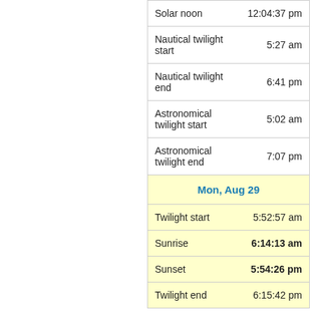| Event | Time |
| --- | --- |
| Solar noon | 12:04:37 pm |
| Nautical twilight start | 5:27 am |
| Nautical twilight end | 6:41 pm |
| Astronomical twilight start | 5:02 am |
| Astronomical twilight end | 7:07 pm |
| Mon, Aug 29 |  |
| Twilight start | 5:52:57 am |
| Sunrise | 6:14:13 am |
| Sunset | 5:54:26 pm |
| Twilight end | 6:15:42 pm |